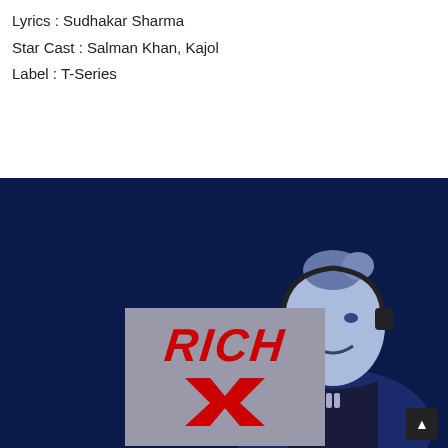Lyrics : Sudhakar Sharma
Star Cast : Salman Khan, Kajol
Label : T-Series
[Figure (photo): Dark navy blue background with a blue-tinted woman wearing a headset microphone, smiling, on the right side. On the lower left is a grey square logo box with red stylized text reading 'RICH' above a large red 'X' with arrow design. A dark scroll-to-top button is visible at lower right.]